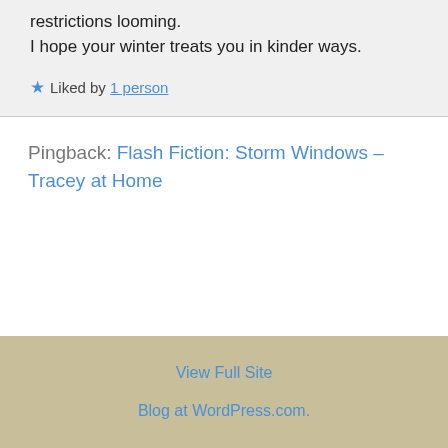restrictions looming.
I hope your winter treats you in kinder ways.
★ Liked by 1 person
Pingback: Flash Fiction: Storm Windows – Tracey at Home
View Full Site
Blog at WordPress.com.